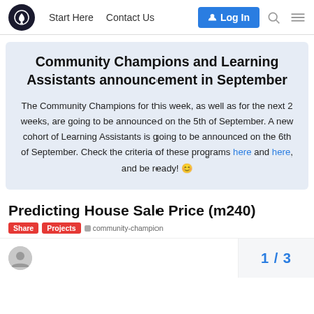Start Here  Contact Us  Log In
Community Champions and Learning Assistants announcement in September
The Community Champions for this week, as well as for the next 2 weeks, are going to be announced on the 5th of September. A new cohort of Learning Assistants is going to be announced on the 6th of September. Check the criteria of these programs here and here, and be ready! 😊
Predicting House Sale Price (m240)
Share  Projects  community-champion
1 / 3